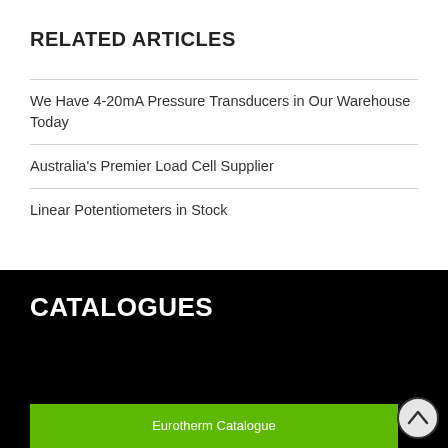RELATED ARTICLES
We Have 4-20mA Pressure Transducers in Our Warehouse Today
Australia's Premier Load Cell Supplier
Linear Potentiometers in Stock
CATALOGUES
Eurotherm Catalogue